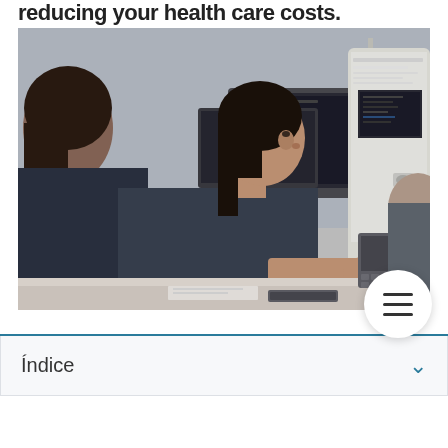reducing your health care costs.
[Figure (photo): Two women working at computers in an office environment, looking at monitors. Other colleagues visible in the background.]
Índice